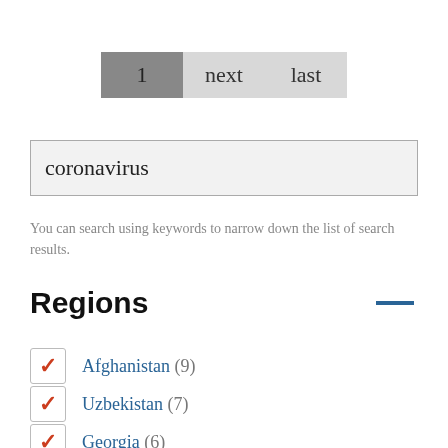[Figure (screenshot): Pagination controls with buttons: 1 (active/dark), next, last]
coronavirus
You can search using keywords to narrow down the list of search results.
Regions
Afghanistan (9)
Uzbekistan (7)
Georgia (6)
China (5)
United States (2)